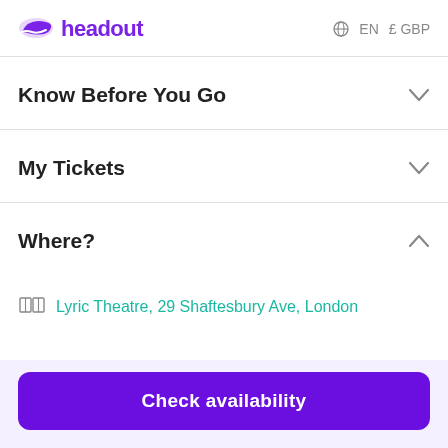headout   EN  £GBP
Know Before You Go
My Tickets
Where?
Lyric Theatre, 29 Shaftesbury Ave, London
Check availability